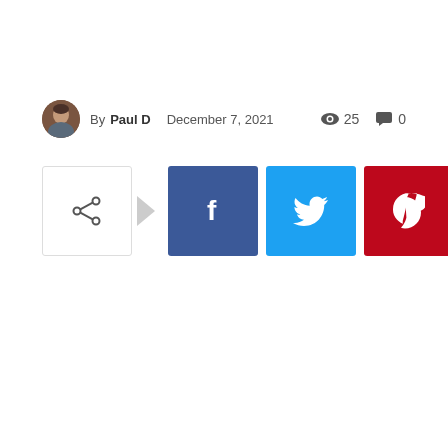By Paul D  December 7, 2021   👁 25  💬 0
[Figure (infographic): Social share buttons row: share icon button, right arrow, Facebook, Twitter, Pinterest, WhatsApp colored square buttons]